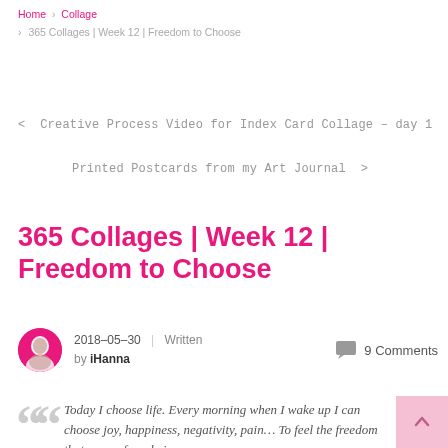Home > Collage > 365 Collages | Week 12 | Freedom to Choose
< Creative Process Video for Index Card Collage – day 1
Printed Postcards from my Art Journal >
365 Collages | Week 12 | Freedom to Choose
2018-05-30 | Written by iHanna  9 Comments
Today I choose life. Every morning when I wake up I can choose joy, happiness, negativity, pain… To feel the freedom that comes from being